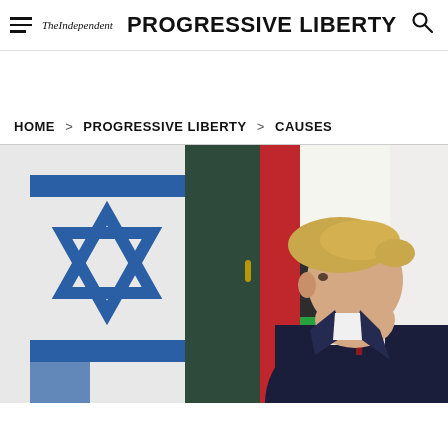TheIndependent | PROGRESSIVE LIBERTY
HOME > PROGRESSIVE LIBERTY > CAUSES
[Figure (photo): A person in a dark suit with blond hair photographed in profile, standing in front of an Israeli flag (white with blue Star of David and stripes) and a UAE flag (white, black, green vertical stripes), with a dark green door and white wall visible in the background.]